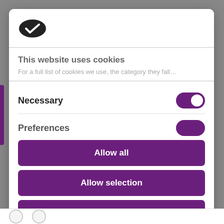[Figure (logo): Cookiebot cookie icon logo — dark oval cookie shape with a checkmark]
This website uses cookies
For a full list of cookies we use, the category they fall…
Necessary (toggle on)
Preferences (toggle partially visible)
Allow all
Allow selection
Deny
Powered by Cookiebot by Usercentrics